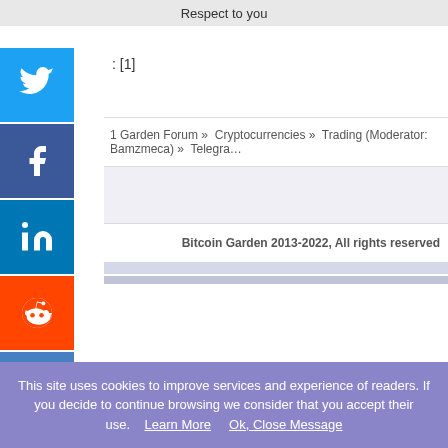Respect to you
: [1]
1 Garden Forum » Cryptocurrencies » Trading (Moderator: Bamzmeca) » Telegram
Bitcoin Garden 2013-2022, All rights reserved
SMF 2.0.15 | SMF © 2017, Simple
This site uses cookies to improve services and experience of readers. If you decide to continue browsing we consider that you accept their use.    Learn More      Ok, Close Message